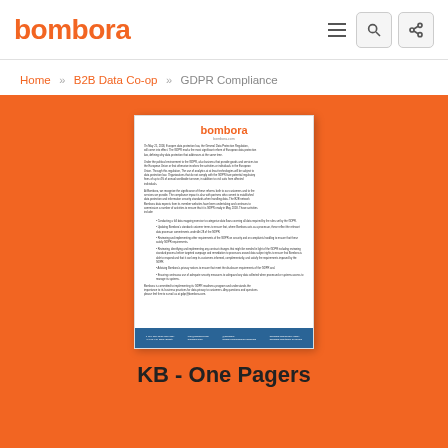bombora
Home » B2B Data Co-op » GDPR Compliance
[Figure (screenshot): Screenshot of a Bombora GDPR Compliance one-pager document with orange header logo, body text about GDPR, bullet points, and a blue footer bar]
KB - One Pagers